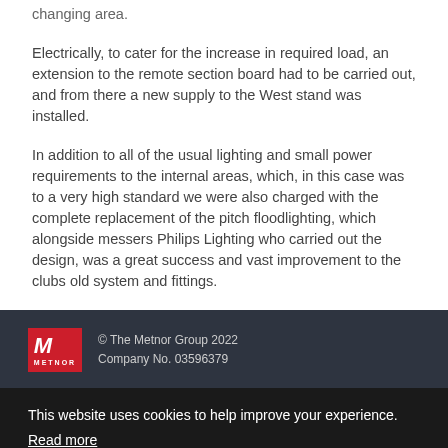changing area.
Electrically, to cater for the increase in required load, an extension to the remote section board had to be carried out, and from there a new supply to the West stand was installed.
In addition to all of the usual lighting and small power requirements to the internal areas, which, in this case was to a very high standard we were also charged with the complete replacement of the pitch floodlighting, which alongside messers Philips Lighting who carried out the design, was a great success and vast improvement to the clubs old system and fittings.
© The Metnor Group 2022 Company No. 03596379
This website uses cookies to help improve your experience. Read more
Accept & Close